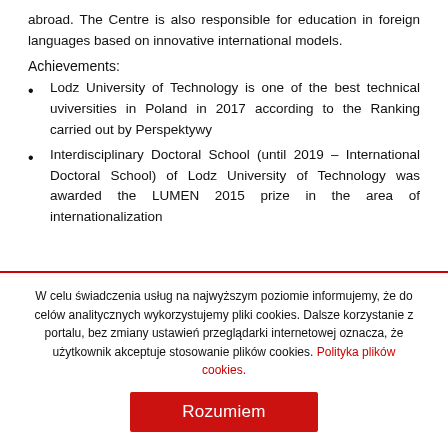abroad. The Centre is also responsible for education in foreign languages based on innovative international models.
Achievements:
Lodz University of Technology is one of the best technical uviversities in Poland in 2017 according to the Ranking carried out by Perspektywy
Interdisciplinary Doctoral School (until 2019 – International Doctoral School) of Lodz University of Technology was awarded the LUMEN 2015 prize in the area of internationalization
W celu świadczenia usług na najwyższym poziomie informujemy, że do celów analitycznych wykorzystujemy pliki cookies. Dalsze korzystanie z portalu, bez zmiany ustawień przeglądarki internetowej oznacza, że użytkownik akceptuje stosowanie plików cookies. Polityka plików cookies.
Rozumiem